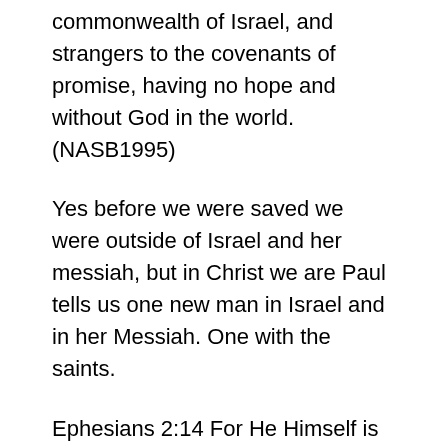commonwealth of Israel, and strangers to the covenants of promise, having no hope and without God in the world. (NASB1995)
Yes before we were saved we were outside of Israel and her messiah, but in Christ we are Paul tells us one new man in Israel and in her Messiah. One with the saints.
Ephesians 2:14 For He Himself is our peace, who made both [groups into] one and broke down the barrier of the dividing wall, 15 by abolishing in His flesh the enmity, [which is] the Law of commandments [contained] in ordinances, so that in Himself He might make the two into one new man, [thus] establishing peace. (NASB1995)